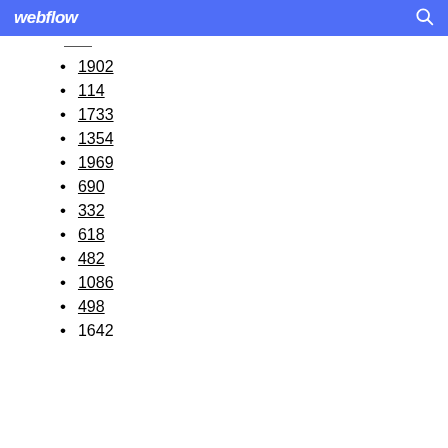webflow
1902
114
1733
1354
1969
690
332
618
482
1086
498
1642